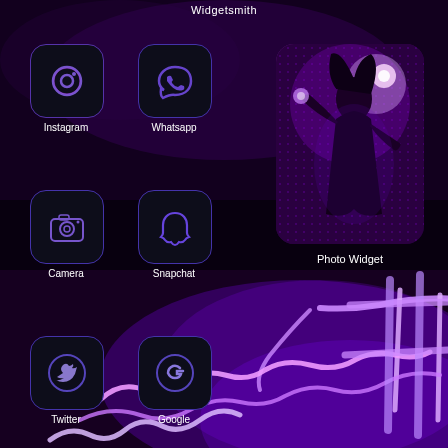Widgetsmith
[Figure (screenshot): iOS home screen with dark purple neon theme showing app icons (Instagram, Whatsapp, Camera, Snapchat, Twitter, Google) and a Photo Widget displaying a woman in purple neon lighting, with a neon sign background]
Instagram
Whatsapp
Camera
Snapchat
Photo Widget
Twitter
Google